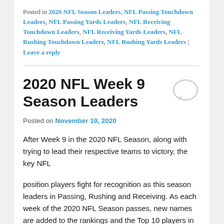Posted in 2020 NFL Season Leaders, NFL Passing Touchdown Leaders, NFL Passing Yards Leaders, NFL Receiving Touchdown Leaders, NFL Receiving Yards Leaders, NFL Rushing Touchdown Leaders, NFL Rushing Yards Leaders | Leave a reply
2020 NFL Week 9 Season Leaders
Posted on November 19, 2020
After Week 9 in the 2020 NFL Season, along with trying to lead their respective teams to victory, the key NFL
position players fight for recognition as this season leaders in Passing, Rushing and Receiving. As each week of the 2020 NFL Season passes, new names are added to the rankings and the Top 10 players in each category are ranked based on Total Yards and Total Touchdowns for the season. The NFL Quarterbacks are ranked by the